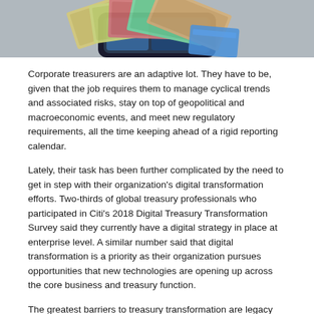[Figure (photo): Partial image of a smartphone with cash/currency fanned out on top of it, viewed from above at an angle, cropped at top of page.]
Corporate treasurers are an adaptive lot. They have to be, given that the job requires them to manage cyclical trends and associated risks, stay on top of geopolitical and macroeconomic events, and meet new regulatory requirements, all the time keeping ahead of a rigid reporting calendar.
Lately, their task has been further complicated by the need to get in step with their organization's digital transformation efforts. Two-thirds of global treasury professionals who participated in Citi's 2018 Digital Treasury Transformation Survey said they currently have a digital strategy in place at enterprise level. A similar number said that digital transformation is a priority as their organization pursues opportunities that new technologies are opening up across the core business and treasury function.
The greatest barriers to treasury transformation are legacy technology and integration issues, says Terry Beadle, head of